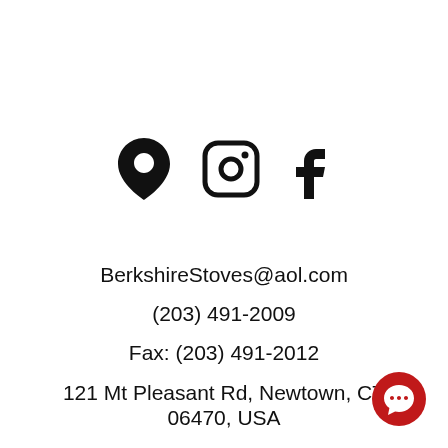[Figure (illustration): Three icons in a row: a map pin/location icon, an Instagram icon, and a Facebook icon, all black on white background.]
BerkshireStoves@aol.com
(203) 491-2009
Fax: (203) 491-2012
121 Mt Pleasant Rd, Newtown, CT 06470, USA
[Figure (illustration): A red circular chat/message button in the bottom right corner with a white speech bubble icon.]